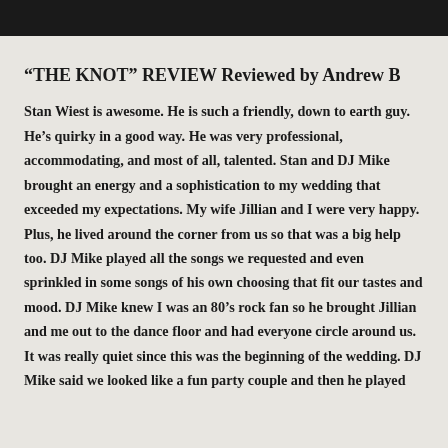“THE KNOT” REVIEW Reviewed by Andrew B
Stan Wiest is awesome. He is such a friendly, down to earth guy. He’s quirky in a good way. He was very professional, accommodating, and most of all, talented. Stan and DJ Mike brought an energy and a sophistication to my wedding that exceeded my expectations. My wife Jillian and I were very happy. Plus, he lived around the corner from us so that was a big help too. DJ Mike played all the songs we requested and even sprinkled in some songs of his own choosing that fit our tastes and mood. DJ Mike knew I was an 80’s rock fan so he brought Jillian and me out to the dance floor and had everyone circle around us. It was really quiet since this was the beginning of the wedding. DJ Mike said we looked like a fun party couple and then he played